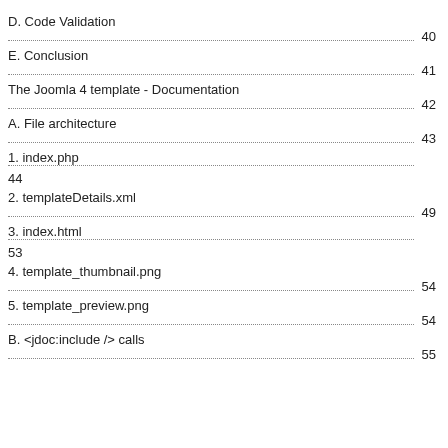D. Code Validation
40
E. Conclusion
41
The Joomla 4 template - Documentation
42
A. File architecture
43
1. index.php
44
2. templateDetails.xml
49
3. index.html
53
4. template_thumbnail.png
54
5. template_preview.png
54
B. <jdoc:include /> calls
55